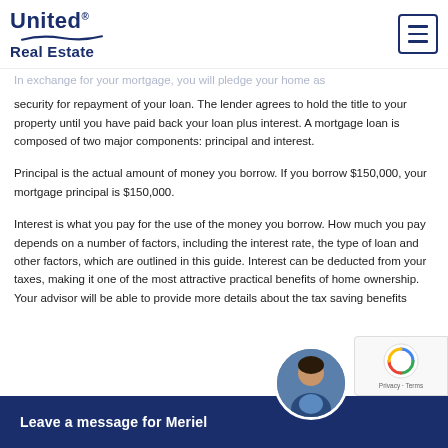United Real Estate
helps to understand what to expect and so take the time up front to find and know what you want and need from your lender. We are devoted to helping you reach both those aims.
In exchange for your mortgage, you will pledge your home as security for repayment of your loan. The lender agrees to hold the title to your property until you have paid back your loan plus interest. A mortgage loan is composed of two major components: principal and interest.
Principal is the actual amount of money you borrow. If you borrow $150,000, your mortgage principal is $150,000.
Interest is what you pay for the use of the money you borrow. How much you pay depends on a number of factors, including the interest rate, the type of loan and other factors, which are outlined in this guide. Interest can be deducted from your taxes, making it one of the most attractive practical benefits of home ownership. Your advisor will be able to provide more details about the tax saving benefits
Leave a message for Meriel